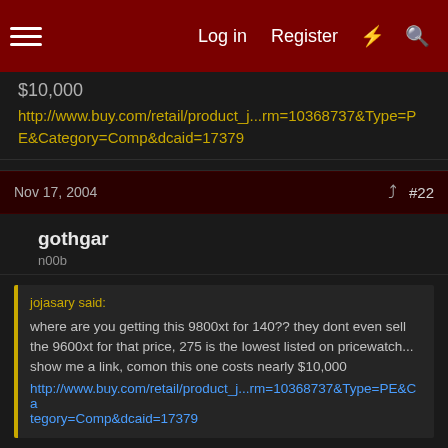Log in  Register  #22
$10,000
http://www.buy.com/retail/product_j...rm=10368737&Type=PE&Category=Comp&dcaid=17379
Nov 17, 2004  #22
gothgar
n00b
jojasary said:
where are you getting this 9800xt for 140?? they dont even sell the 9600xt for that price, 275 is the lowest listed on pricewatch... show me a link, comon this one costs nearly $10,000
http://www.buy.com/retail/product_j...rm=10368737&Type=PE&Category=Comp&dcaid=17379
read the OP